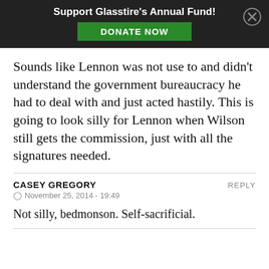Support Glasstire's Annual Fund! DONATE NOW
Sounds like Lennon was not use to and didn't understand the government bureaucracy he had to deal with and just acted hastily. This is going to look silly for Lennon when Wilson still gets the commission, just with all the signatures needed.
CASEY GREGORY
November 25, 2014 - 19:49
Not silly, bedmonson. Self-sacrificial.